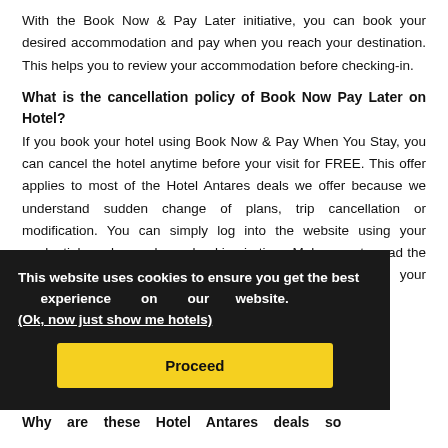With the Book Now & Pay Later initiative, you can book your desired accommodation and pay when you reach your destination. This helps you to review your accommodation before checking-in.
What is the cancellation policy of Book Now Pay Later on Hotel?
If you book your hotel using Book Now & Pay When You Stay, you can cancel the hotel anytime before your visit for FREE. This offer applies to most of the Hotel Antares deals we offer because we understand sudden change of plans, trip cancellation or modification. You can simply log into the website using your credentials and cancel your booking in time. Make sure to read the terms and conditions and cancellation policy of your accommodation before finalising the booking.
This website uses cookies to ensure you get the best experience on our website. (Ok, now just show me hotels)
Why are these Hotel Antares deals so